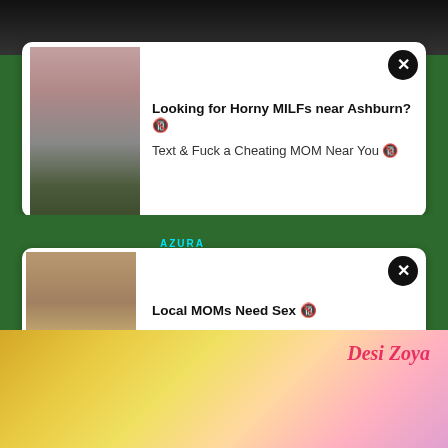[Figure (screenshot): Dark-themed website background strip at top]
[Figure (photo): Advertisement card 1 with thumbnail photo of woman and bold text overlay]
Looking for Horny MILFs near Ashburn? 🔞
Text & Fuck a Cheating MOM Near You 🔞
[Figure (photo): Middle background strip with AZURA watermark text]
[Figure (photo): Advertisement card 2 with thumbnail photo of woman and bold text overlay]
Local MOMs Need Sex 🔞
MILFs & MOMs looking for discreet Sex 30+ 🔞
[Figure (photo): Bottom image showing two people, with Desi Zoya watermark label in pink cursive]